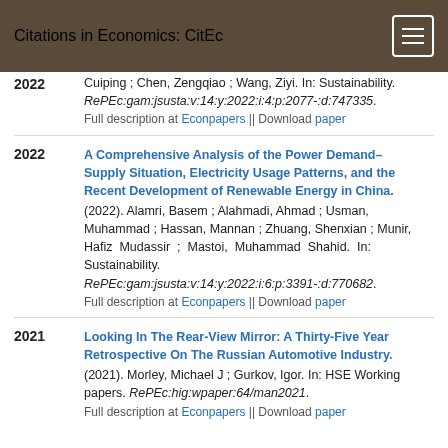Citations in Economics: CitEc
2022 Cuiping ; Chen, Zengqiao ; Wang, Ziyi. In: Sustainability. RePEc:gam:jsusta:v:14:y:2022:i:4:p:2077-:d:747335. Full description at Econpapers || Download paper
A Comprehensive Analysis of the Power Demand–Supply Situation, Electricity Usage Patterns, and the Recent Development of Renewable Energy in China. (2022). Alamri, Basem ; Alahmadi, Ahmad ; Usman, Muhammad ; Hassan, Mannan ; Zhuang, Shenxian ; Munir, Hafiz Mudassir ; Mastoi, Muhammad Shahid. In: Sustainability. RePEc:gam:jsusta:v:14:y:2022:i:6:p:3391-:d:770682. Full description at Econpapers || Download paper
Looking In The Rear-View Mirror: A Thirty-Five Year Retrospective On The Russian Automotive Industry. (2021). Morley, Michael J ; Gurkov, Igor. In: HSE Working papers. RePEc:hig:wpaper:64/man2021. Full description at Econpapers || Download paper